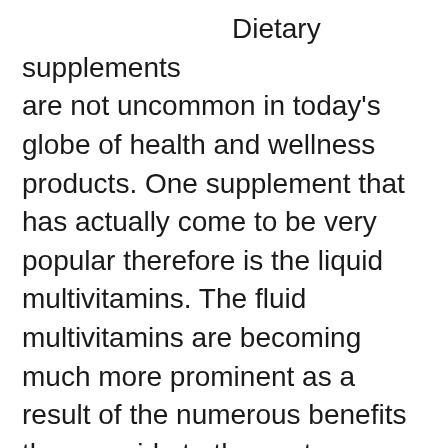Dietary supplements are not uncommon in today's globe of health and wellness products. One supplement that has actually come to be very popular therefore is the liquid multivitamins. The fluid multivitamins are becoming much more prominent as a result of the numerous benefits they provide to the customer. These supplements have several kinds, including those that contain vitamins, minerals and natural herbs. A dietary supplement is generally a chemically synthesized product implied to supplement one's everyday diet regimen with a tablet, tablet computer, capsule or powder. Such a supplement may contain natural nutrients both extracted from food resources in addition to artificial ones to